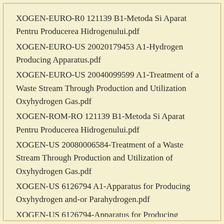XOGEN-EURO-R0 121139 B1-Metoda Si Aparat Pentru Producerea Hidrogenului.pdf
XOGEN-EURO-US 20020179453 A1-Hydrogen Producing Apparatus.pdf
XOGEN-EURO-US 20040099599 A1-Treatment of a Waste Stream Through Production and Utilization Oxyhydrogen Gas.pdf
XOGEN-ROM-RO 121139 B1-Metoda Si Aparat Pentru Producerea Hidrogenului.pdf
XOGEN-US 20080006584-Treatment of a Waste Stream Through Production and Utilization of Oxyhydrogen Gas.pdf
XOGEN-US 6126794 A1-Apparatus for Producing Oxyhydrogen and-or Parahydrogen.pdf
XOGEN-US 6126794-Apparatus for Producing Oxyhydrogen and-or Parahydrogen.pdf